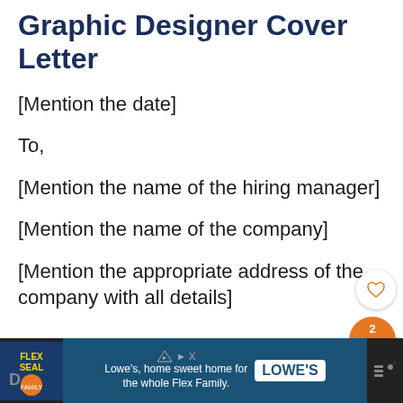Graphic Designer Cover Letter
[Mention the date]
To,
[Mention the name of the hiring manager]
[Mention the name of the company]
[Mention the appropriate address of the company with all details]
[Figure (screenshot): UI overlay with heart/like button and orange share button showing count of 2]
[Figure (screenshot): What's Next bar showing Graphic Designer link with thumbnail]
[Figure (screenshot): Advertisement bar at bottom: Flex Seal logo and Lowe's home sweet home for the whole Flex Family ad]